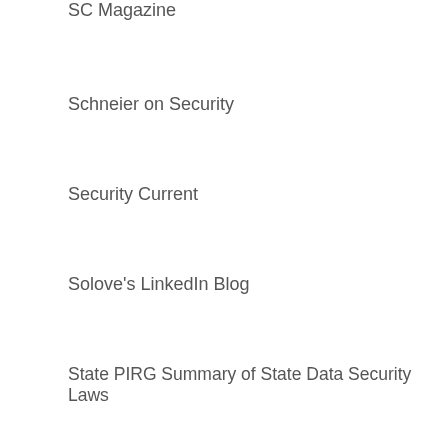SC Magazine
Schneier on Security
Security Current
Solove's LinkedIn Blog
State PIRG Summary of State Data Security Laws
The Health Care Blog
TRUSTe Blog
Wiley Rein Privacy in Focus Blog
ZwillGen Blog